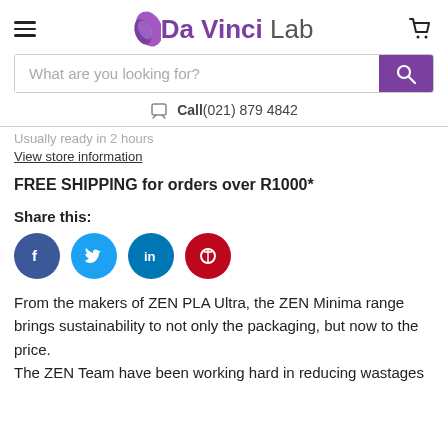Da Vinci Lab
What are you looking for?
Call(021) 879 4842
Usually ready in 2 hours
View store information
FREE SHIPPING for orders over R1000*
Share this:
[Figure (infographic): Social share icons: Facebook (blue), Twitter (light blue), LinkedIn (dark blue), Pinterest (red)]
From the makers of ZEN PLA Ultra, the ZEN Minima range brings sustainability to not only the packaging, but now to the price.
The ZEN Team have been working hard in reducing wastages